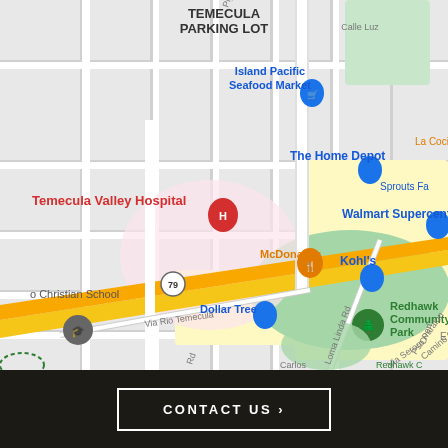[Figure (map): Google Maps screenshot showing Temecula, CA area centered around Temecula Valley Hospital on Highway 79. Landmarks include Island Pacific Seafood Market, The Home Depot, Walmart Supercenter, McDonald's, Dollar Tree, Kohl's, Redhawk Community Park, and various street labels including Via Rio Temecula, Loma Linda Rd, Via Seron, Pso Paralon, Camino Guarda. A school pin and a park pin are also visible.]
CONTACT US ›